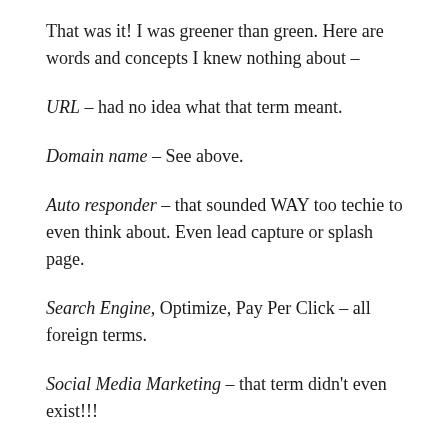That was it! I was greener than green. Here are words and concepts I knew nothing about –
URL – had no idea what that term meant.
Domain name – See above.
Auto responder – that sounded WAY too techie to even think about. Even lead capture or splash page.
Search Engine, Optimize, Pay Per Click – all foreign terms.
Social Media Marketing – that term didn't even exist!!!
Here is what I did know –